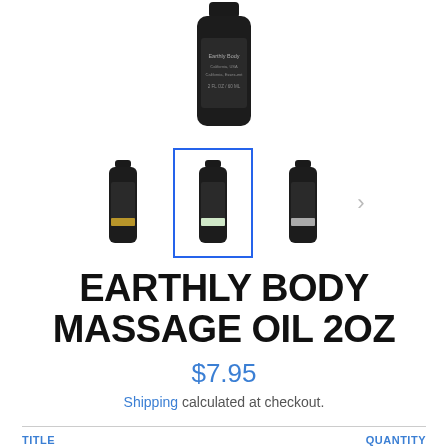[Figure (photo): Top portion of a dark/black cylindrical product bottle with label reading 'Earthly Body, California USA, California, Essex-ent, 2 FL OZ / 60 ML']
[Figure (photo): Row of three small dark massage oil bottles as product thumbnails. Left bottle has gold label stripe, center bottle (selected, highlighted with blue border) has white/green label stripe, right bottle has silver/grey label stripe. A right-arrow navigation indicator appears to the far right.]
EARTHLY BODY MASSAGE OIL 2OZ
$7.95
Shipping calculated at checkout.
TITLE
QUANTITY